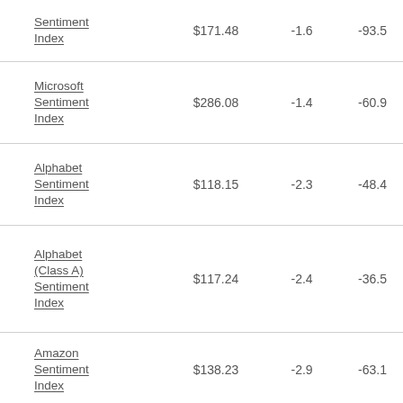| Name | Price | Change | Sentiment Index |
| --- | --- | --- | --- |
| Sentiment Index | $171.48 | -1.6 | -93.5 |
| Microsoft Sentiment Index | $286.08 | -1.4 | -60.9 |
| Alphabet Sentiment Index | $118.15 | -2.3 | -48.4 |
| Alphabet (Class A) Sentiment Index | $117.24 | -2.4 | -36.5 |
| Amazon Sentiment Index | $138.23 | -2.9 | -63.1 |